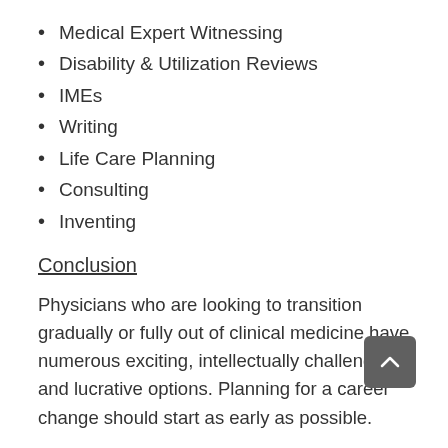Medical Expert Witnessing
Disability & Utilization Reviews
IMEs
Writing
Life Care Planning
Consulting
Inventing
Conclusion
Physicians who are looking to transition gradually or fully out of clinical medicine have numerous exciting, intellectually challenging, and lucrative options. Planning for a career change should start as early as possible.
About the Author
Steven Babitsky, Esq. is the founder of SEAK, Inc. an